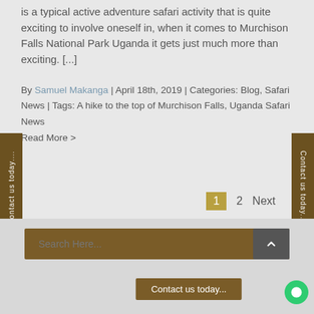is a typical active adventure safari activity that is quite exciting to involve oneself in, when it comes to Murchison Falls National Park Uganda it gets just much more than exciting. [...]
By Samuel Makanga | April 18th, 2019 | Categories: Blog, Safari News | Tags: A hike to the top of Murchison Falls, Uganda Safari News
Read More >
1  2  Next
Contact us today...
Contact us today...
Search Here...
Contact us today...